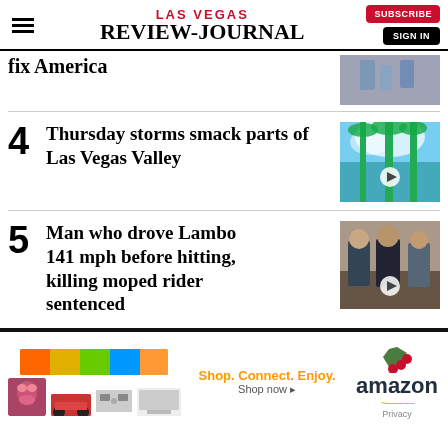LAS VEGAS REVIEW-JOURNAL
fix America
4 Thursday storms smack parts of Las Vegas Valley
[Figure (photo): View looking up at palm trees against blue sky]
5 Man who drove Lambo 141 mph before hitting, killing moped rider sentenced
[Figure (photo): Man in courtroom with law enforcement officers]
[Figure (other): Amazon advertisement - Shop. Connect. Enjoy. Shop now]